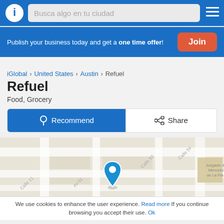Busca algo en tu ciudad
Publish your business today and get a one time offer! Join
iGlobal > United States > Austin > Refuel
Refuel
Food, Grocery
Recommend  Share
[Figure (map): Street map showing location of Refuel in Austin with blue location pin marker]
We use cookies to enhance the user experience. Read more If you continue browsing you accept their use. Ok